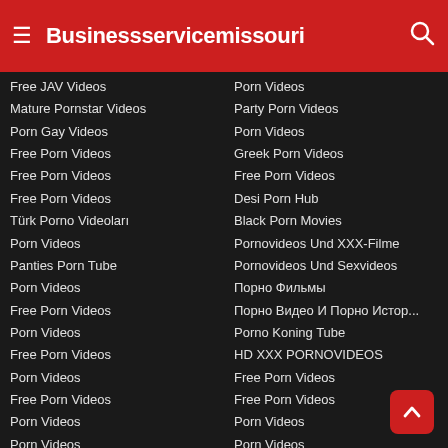Businessservicemissouri
Free JAV Videos
Mature Pornstar Videos
Porn Gay Videos
Free Porn Videos
Free Porn Videos
Free Porn Videos
Türk Porno Videoları
Porn Videos
Panties Porn Tube
Porn Videos
Free Porn Videos
Porn Videos
Free Porn Videos
Porn Videos
Free Porn Videos
Porn Videos
Porn Videos
Free Porn Videos
Xxx Porn Videos
Porn Videos
Porn Videos
Party Porn Videos
Porn Videos
Greek Porn Videos
Free Porn Videos
Desi Porn Hub
Black Porn Movies
Pornovideos Und XXX-Filme
Pornovideos Und Sexvideos
Порно Фильмы
Порно Видео И Порно Истор...
Porno Koning Tube
HD XXX PORNOVIDEOS
Free Porn Videos
Free Porn Videos
Porn Videos
Porn Videos
Porn Videos
Porn Videos
Free Porn Videos